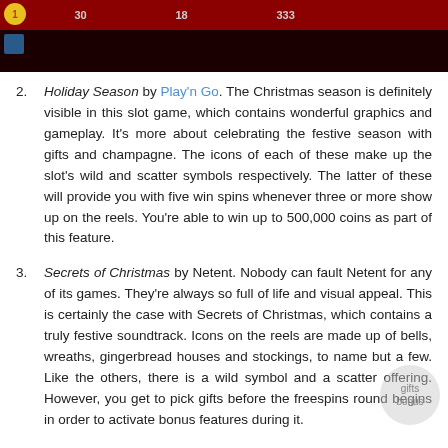[Figure (screenshot): Top portion of a slot game screenshot showing a dark red background with numbers 30, 18, 333 displayed in a header bar, a yellow circle icon top-left, and a blue square below it.]
Holiday Season by Play'n Go. The Christmas season is definitely visible in this slot game, which contains wonderful graphics and gameplay. It's more about celebrating the festive season with gifts and champagne. The icons of each of these make up the slot's wild and scatter symbols respectively. The latter of these will provide you with five win spins whenever three or more show up on the reels. You're able to win up to 500,000 coins as part of this feature.
Secrets of Christmas by Netent. Nobody can fault Netent for any of its games. They're always so full of life and visual appeal. This is certainly the case with Secrets of Christmas, which contains a truly festive soundtrack. Icons on the reels are made up of bells, wreaths, gingerbread houses and stockings, to name but a few. Like the others, there is a wild symbol and a scatter offering. However, you get to pick gifts before the freespins round begins in order to activate bonus features during it.